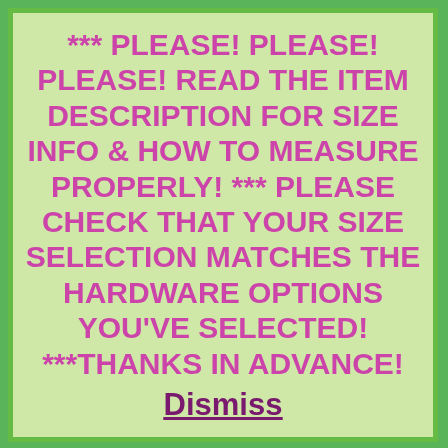[Figure (screenshot): A colorful e-commerce website screenshot with a green and purple chevron/zigzag pattern background, a zebra-striped decorative element on the left, and partially visible store banner text. A modal dialog box overlays the top portion with a light green background and green border, containing a warning message in bold magenta/purple text and an underlined Dismiss link.]
*** PLEASE! PLEASE! PLEASE! READ THE ITEM DESCRIPTION FOR SIZE INFO & HOW TO MEASURE PROPERLY! *** PLEASE CHECK THAT YOUR SIZE SELECTION MATCHES THE HARDWARE OPTIONS YOU'VE SELECTED! ***THANKS IN ADVANCE!
Dismiss